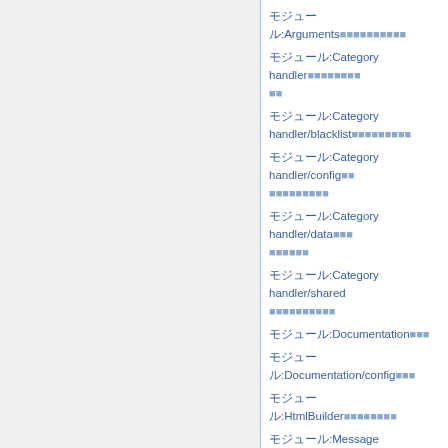モジュール:Arguments モジュールのリスト
モジュール:Category handler モジュールのリスト
モジュール:Category handler/blacklist モジュールのリスト
モジュール:Category handler/config モジュールのリスト
モジュール:Category handler/data モジュールのリスト
モジュール:Category handler/shared モジュールのリスト
モジュール:Documentation モジュールのリスト
モジュール:Documentation/config モジュールのリスト
モジュール:HtmlBuilder モジュールのリスト
モジュール:Message box モジュールのリスト
モジュール:Message box/configuration モジュールのリスト
モジュール:Namespace detect/config モジュールのリスト